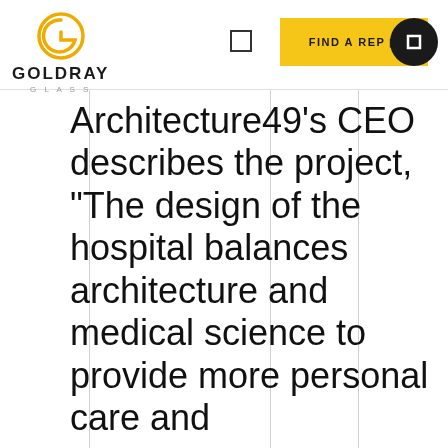[Figure (logo): Goldray Glass logo: golden circular G icon with spiral detail, text GOLDRAY in bold caps, GLASS in small caps below]
[Figure (screenshot): Navigation bar with square outline icon, yellow FIND A REP button with arrow, and black circle icon with square]
Architecture49's CEO describes the project, "The design of the hospital balances architecture and medical science to provide more personal care and